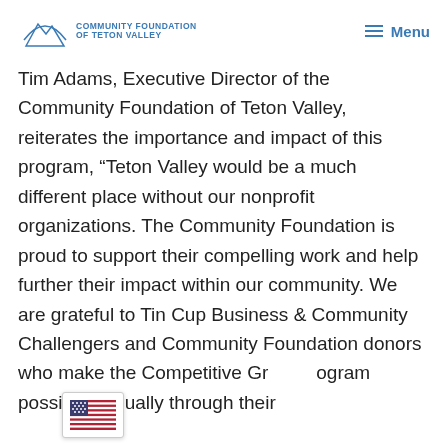Community Foundation of Teton Valley — Menu
Tim Adams, Executive Director of the Community Foundation of Teton Valley, reiterates the importance and impact of this program, “Teton Valley would be a much different place without our nonprofit organizations. The Community Foundation is proud to support their compelling work and help further their impact within our community. We are grateful to Tin Cup Business & Community Challengers and Community Foundation donors who make the Competitive Grant Program possible annually through their